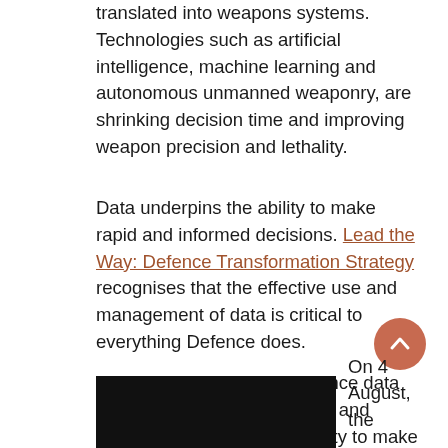translated into weapons systems. Technologies such as artificial intelligence, machine learning and autonomous unmanned weaponry, are shrinking decision time and improving weapon precision and lethality.
Data underpins the ability to make rapid and informed decisions. Lead the Way: Defence Transformation Strategy recognises that the effective use and management of data is critical to everything Defence does.
Unlocking the power of Defence data will help automate processes and reporting, increasing the ability to make informed decisions regarding strategy, capability, and resources.
[Figure (photo): Black rectangular image, likely a photo, at bottom left of page]
On 4 August, the